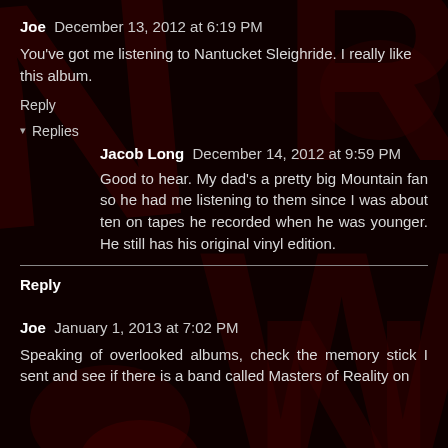Joe  December 13, 2012 at 6:19 PM
You've got me listening to Nantucket Sleighride. I really like this album.
Reply
▾ Replies
Jacob Long  December 14, 2012 at 9:59 PM
Good to hear. My dad's a pretty big Mountain fan so he had me listening to them since I was about ten on tapes he recorded when he was younger. He still has his original vinyl edition.
Reply
Joe  January 1, 2013 at 7:02 PM
Speaking of overlooked albums, check the memory stick I sent and see if there is a band called Masters of Reality on